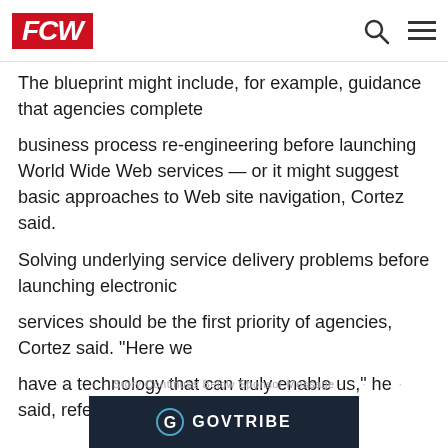FCW
The blueprint might include, for example, guidance that agencies complete
business process re-engineering before launching World Wide Web services — or it might suggest basic approaches to Web site navigation, Cortez said.
Solving underlying service delivery problems before launching electronic
services should be the first priority of agencies, Cortez said. "Here we
have a technology that can truly enable us," he said, referring to the Internet,
· · · · · · Story Continues Below Sponsor Message · · · · · ·
[Figure (other): GOVTRIBE advertisement banner with dark navy background and white GOVTRIBE logo]